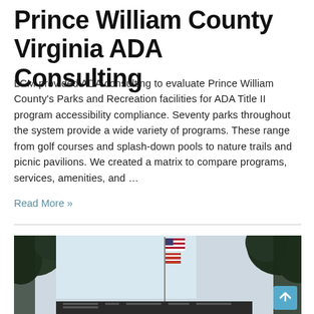Prince William County Virginia ADA Consulting
LCM provided ADA consulting to evaluate Prince William County's Parks and Recreation facilities for ADA Title II program accessibility compliance. Seventy parks throughout the system provide a wide variety of programs. These range from golf courses and splash-down pools to nature trails and picnic pavilions. We created a matrix to compare programs, services, amenities, and …
Read More »
[Figure (photo): Outdoor photo showing an American flag and a second flag on a flagpole, with trees framing the scene and a building structure visible at the bottom.]